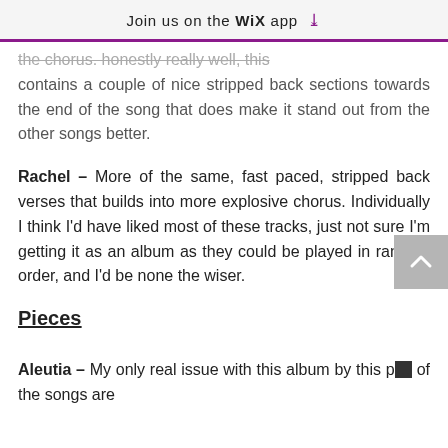Join us on the WiX app ↓
...the chorus. Honestly really well, this contains a couple of nice stripped back sections towards the end of the song that does make it stand out from the other songs better.
Rachel – More of the same, fast paced, stripped back verses that builds into more explosive chorus. Individually I think I'd have liked most of these tracks, just not sure I'm getting it as an album as they could be played in random order, and I'd be none the wiser.
Pieces
Aleutia – My only real issue with this album by this p... of the songs are